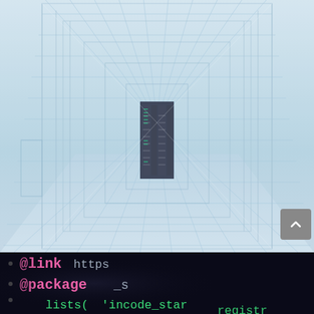[Figure (photo): A futuristic corridor or hallway with a grid overlay of glowing white lines creating a perspective tunnel effect, with a dark server room or passage visible at the end. The image has a blue-tinted, high-tech aesthetic with reflective floors and glass walls.]
[Figure (photo): Close-up of a dark computer screen showing colorful programming code: '@link https...' in pink, '@package _s' in pink, 'lists( 'incode_star' in green, and 'registr' partially visible in green. The text is blurred/bokeh style against a dark background.]